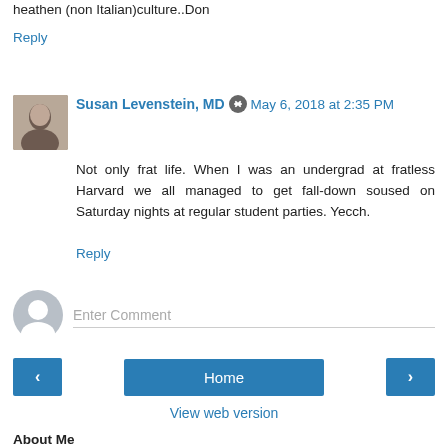heathen (non Italian)culture..Don
Reply
Susan Levenstein, MD  May 6, 2018 at 2:35 PM
Not only frat life. When I was an undergrad at fratless Harvard we all managed to get fall-down soused on Saturday nights at regular student parties. Yecch.
Reply
Enter Comment
Home
View web version
About Me